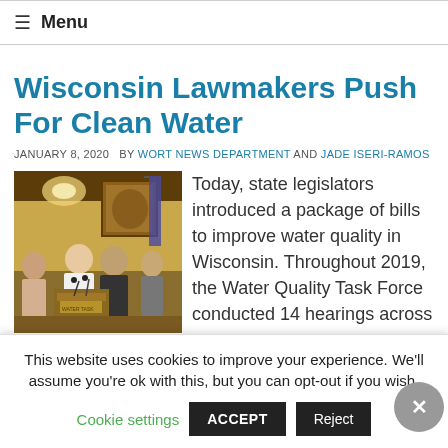≡ Menu
Wisconsin Lawmakers Push For Clean Water
JANUARY 8, 2020  BY WORT NEWS DEPARTMENT AND JADE ISERI-RAMOS
[Figure (photo): Photo of state legislators at a press conference podium in an ornate chamber]
Today, state legislators introduced a package of bills to improve water quality in Wisconsin. Throughout 2019, the Water Quality Task Force conducted 14 hearings across
This website uses cookies to improve your experience. We'll assume you're ok with this, but you can opt-out if you wish.
Cookie settings   ACCEPT   Reject